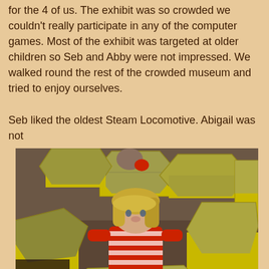for the 4 of us. The exhibit was so crowded we couldn't really participate in any of the computer games. Most of the exhibit was targeted at older children so Seb and Abby were not impressed. We walked round the rest of the crowded museum and tried to enjoy ourselves.

Seb liked the oldest Steam Locomotive. Abigail was not
[Figure (photo): A young blonde girl in a red and white striped top sits among yellow hexagonal display boxes/exhibits in what appears to be a museum. Another person is visible in the background also interacting with the exhibits.]